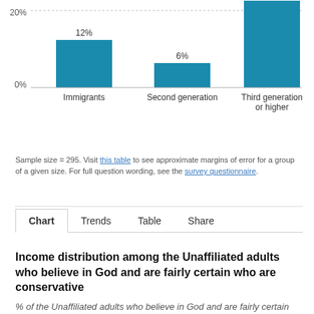[Figure (bar-chart): ]
Sample size = 295. Visit this table to see approximate margins of error for a group of a given size. For full question wording, see the survey questionnaire.
Chart  Trends  Table  Share
Income distribution among the Unaffiliated adults who believe in God and are fairly certain who are conservative
% of the Unaffiliated adults who believe in God and are fairly certain who are conservative who have a household income of